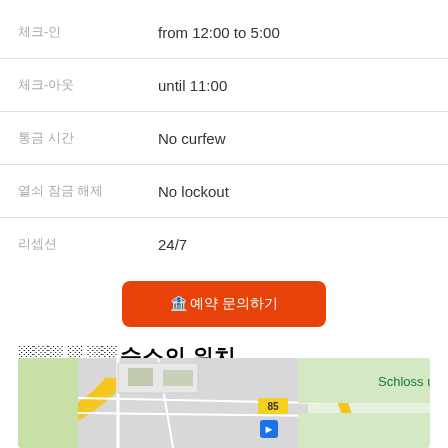체크-인: from 12:00 to 5:00
체크-아웃: until 11:00
통금 시간: No curfew
열쇠 잠금 해제: No lockout
리셉션: 24/7
예약 문의하기
숙소의 위치
[Figure (map): Street map showing area near Schloss, with road number 85 marked, transit icon visible, surrounded by green areas and roads]